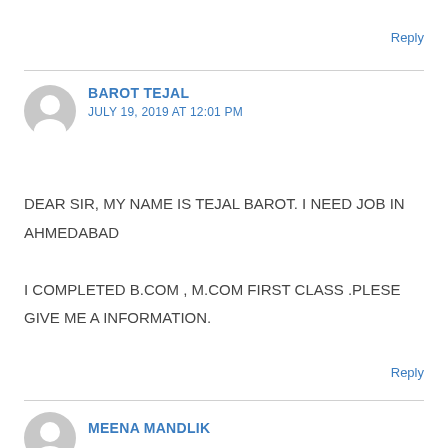Reply
[Figure (illustration): Generic user avatar icon for BAROT TEJAL]
BAROT TEJAL
JULY 19, 2019 AT 12:01 PM
DEAR SIR, MY NAME IS TEJAL BAROT. I NEED JOB IN AHMEDABAD
I COMPLETED B.COM , M.COM FIRST CLASS .PLESE GIVE ME A INFORMATION.
Reply
[Figure (illustration): Generic user avatar icon for MEENA MANDLIK]
MEENA MANDLIK